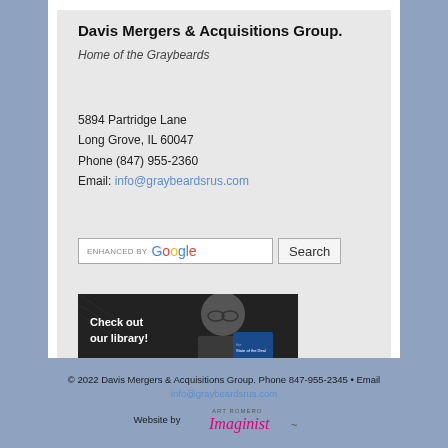Davis Mergers & Acquisitions Group.
Home of the Graybeards
5894 Partridge Lane
Long Grove, IL 60047
Phone (847) 955-2360
Email: info@graybeardsrus.com
[Figure (screenshot): Google search bar with 'ENHANCED BY Google' label and a 'Search' button]
[Figure (photo): Banner image showing a person with glasses reading a book, with text 'Check out our library!']
© 2022 Davis Mergers & Acquisitions Group. Phone 847-955-2345 • Email info@graybeardsrus.com
Website by Art Romero Imaginist